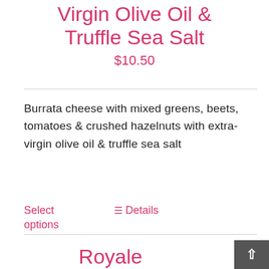Virgin Olive Oil & Truffle Sea Salt
$10.50
Burrata cheese with mixed greens, beets, tomatoes & crushed hazelnuts with extra-virgin olive oil & truffle sea salt
Select options
Details
Royale